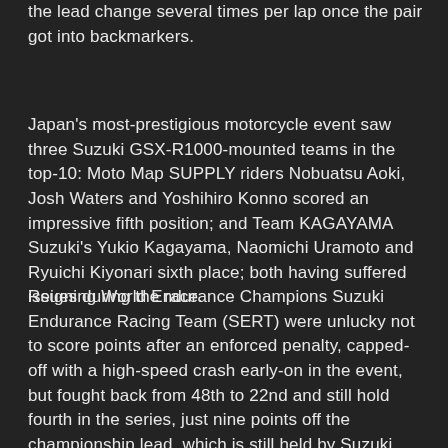the lead change several times per lap once the pair got into backmarkers.
Japan's most-prestigious motorcycle event saw three Suzuki GSX-R1000-mounted teams in the top-10: Moto Map SUPPLY riders Nobuatsu Aoki, Josh Waters and Yoshihiro Konno scored an impressive fifth position; and Team KAGAYAMA Suzuki's Yukio Kagayama, Naomichi Uramoto and Ryuichi Kiyonari sixth place; both having suffered issues during the race.
Reigning World Endurance Champions Suzuki Endurance Racing Team (SERT) were unlucky not to score points after an enforced penalty, capped-off with a high-speed crash early-on in the event, but fought back from 48th to 22nd and still hold fourth in the series, just nine points off the championship lead, which is still held by Suzuki GSX-R1000-mounted Team April Moto Motors Events (Gregg Black, Gregory Fastre and